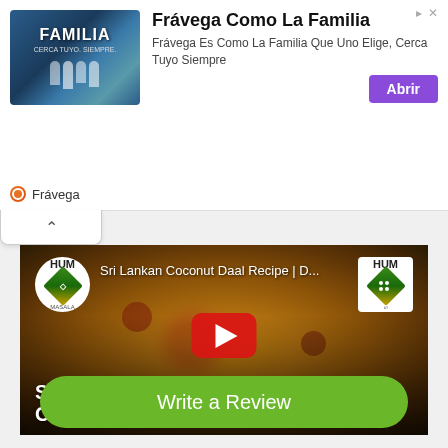[Figure (screenshot): Advertisement banner for Frávega Como La Familia with photo of people playing sport, purple Abrir button, and Frávega branding]
[Figure (screenshot): YouTube video thumbnail for Sri Lankan Coconut Daal Recipe by HUM Masala channel, showing a bowl of dal with spices, red play button, and SRI LANKAN COCONUT DAL text overlay]
Write a Review